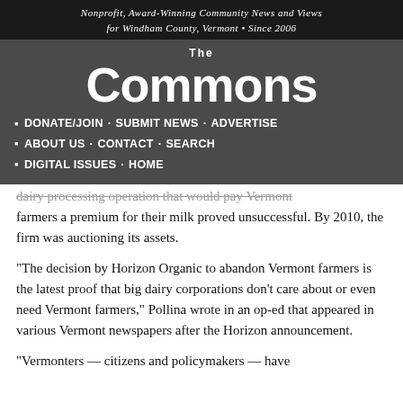Nonprofit, Award-Winning Community News and Views for Windham County, Vermont • Since 2006
[Figure (logo): The Commons newspaper logo — large white text on dark grey background]
DONATE/JOIN · SUBMIT NEWS · ADVERTISE
ABOUT US · CONTACT · SEARCH
DIGITAL ISSUES · HOME
dairy processing operation that would pay Vermont farmers a premium for their milk proved unsuccessful. By 2010, the firm was auctioning its assets.
“The decision by Horizon Organic to abandon Vermont farmers is the latest proof that big dairy corporations don’t care about or even need Vermont farmers,” Pollina wrote in an op-ed that appeared in various Vermont newspapers after the Horizon announcement.
“Vermonters — citizens and policymakers — have